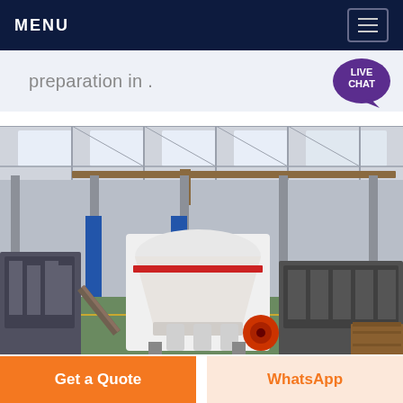MENU
preparation in .
[Figure (photo): Industrial factory floor showing large cone crusher machines and heavy industrial equipment inside a large warehouse with steel columns and skylights]
Get a Quote
WhatsApp